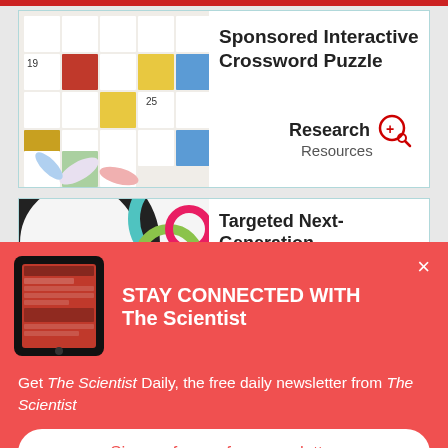[Figure (illustration): Crossword puzzle tiles with colorful pills and tablets scattered around, showing numbers 19 and 25 on tiles]
Sponsored Interactive Crossword Puzzle
[Figure (logo): Research+ Resources logo with magnifying glass icon]
[Figure (illustration): Abstract circular colorful target/bullseye graphic with dark ring]
Targeted Next-Generation
[Figure (illustration): Tablet device showing The Scientist magazine app]
STAY CONNECTED WITH The Scientist
Get The Scientist Daily, the free daily newsletter from The Scientist
Sign up for our free newsletter